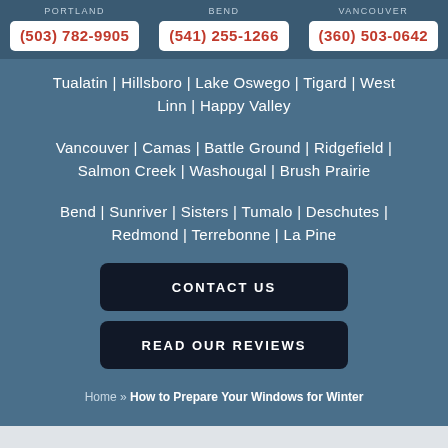PORTLAND (503) 782-9905 | BEND (541) 255-1266 | VANCOUVER (360) 503-0642
Tualatin | Hillsboro | Lake Oswego | Tigard | West Linn | Happy Valley
Vancouver | Camas | Battle Ground | Ridgefield | Salmon Creek | Washougal | Brush Prairie
Bend | Sunriver | Sisters | Tumalo | Deschutes | Redmond | Terrebonne | La Pine
CONTACT US
READ OUR REVIEWS
Home » How to Prepare Your Windows for Winter